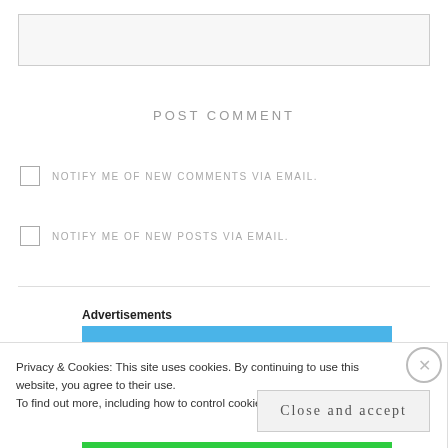[Figure (screenshot): A text input/textarea box for entering a comment, with light gray background and border]
POST COMMENT
NOTIFY ME OF NEW COMMENTS VIA EMAIL.
NOTIFY ME OF NEW POSTS VIA EMAIL.
Advertisements
Privacy & Cookies: This site uses cookies. By continuing to use this website, you agree to their use.
To find out more, including how to control cookies, see here: Cookie Policy
Close and accept